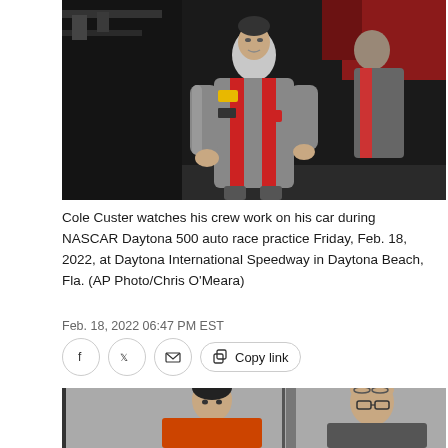[Figure (photo): Cole Custer in racing suit standing in front of race car in pit garage, watching crew work]
Cole Custer watches his crew work on his car during NASCAR Daytona 500 auto race practice Friday, Feb. 18, 2022, at Daytona International Speedway in Daytona Beach, Fla. (AP Photo/Chris O'Meara)
Feb. 18, 2022 06:47 PM EST
[Figure (photo): Two men in racing attire, one younger and one older with glasses, appearing to have a conversation in a garage setting]